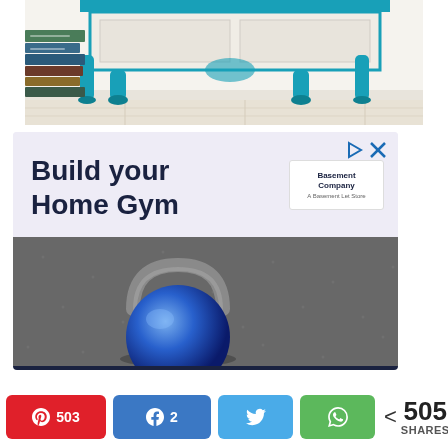[Figure (photo): Photo of a teal/turquoise painted ornate furniture piece (console table) with curved cabriole legs on a light wood floor, with a stack of books on the left side.]
[Figure (infographic): Advertisement banner with light lavender background. Header text reads 'Build your Home Gym' in large dark navy bold font. A logo/brand image is in the top right. Below is a photo of a blue kettlebell on a dark rubber floor. A dark navy bar runs along the bottom of the ad. Ad control icons (play and X) are in the top right corner.]
[Figure (infographic): Social share bar at the bottom showing Pinterest (503), Facebook (2), Twitter, and WhatsApp share buttons, plus a total count of 505 SHARES.]